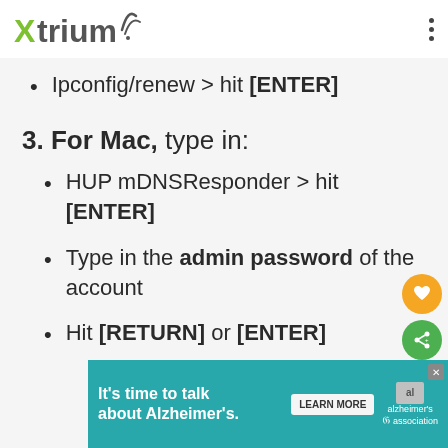Xtrium
Ipconfig/renew > hit [ENTER]
3. For Mac, type in:
HUP mDNSResponder > hit [ENTER]
Type in the admin password of the account
Hit [RETURN] or [ENTER]